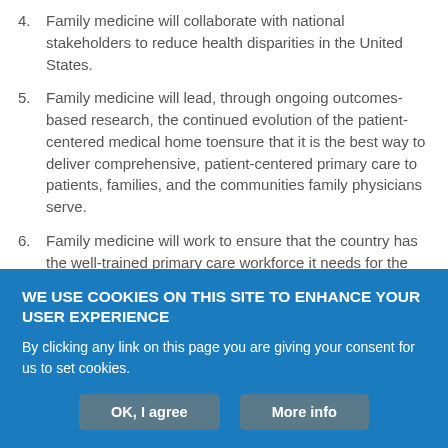4. Family medicine will collaborate with national stakeholders to reduce health disparities in the United States.
5. Family medicine will lead, through ongoing outcomes-based research, the continued evolution of the patient-centered medical home toensure that it is the best way to deliver comprehensive, patient-centered primary care to patients, families, and the communities family physicians serve.
6. Family medicine will work to ensure that the country has the well-trained primary care workforce it needs for the future through expansion and transformation of training from pipeline through practice.
7. To give patients the comprehensive and coordinated care and
WE USE COOKIES ON THIS SITE TO ENHANCE YOUR USER EXPERIENCE
By clicking any link on this page you are giving your consent for us to set cookies.